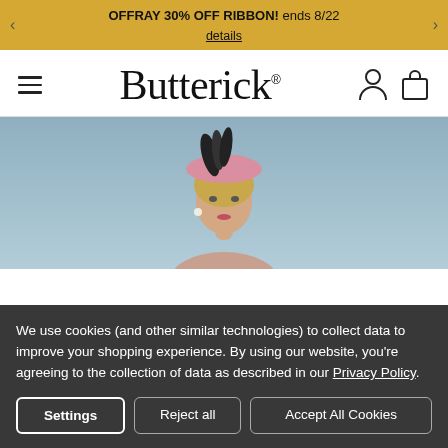OFFRAY 30% OFF RIBBON! ends 8/22 details
Butterick
[Figure (photo): Woman wearing a pink hat with black feathers and period costume, photographed against a grey-blue background. This appears to be a Butterick sewing pattern product photo.]
We use cookies (and other similar technologies) to collect data to improve your shopping experience. By using our website, you're agreeing to the collection of data as described in our Privacy Policy.
Settings   Reject all   Accept All Cookies